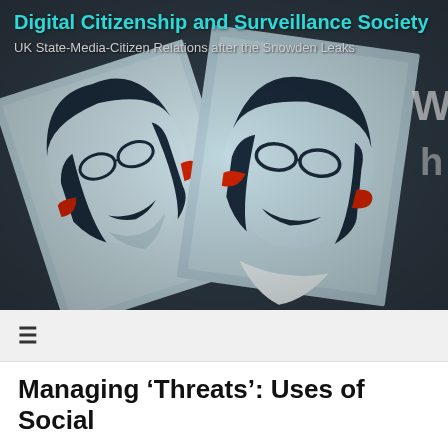Digital Citizenship and Surveillance Society
UK State-Media-Citizen Relations after the Snowden Leaks
[Figure (photo): Stylized red, white and blue poster-art portraits of Edward Snowden, multiple overlapping prints photographed close up. Bold graphic style reminiscent of political protest art.]
≡
Managing 'Threats': Uses of Social Media for Policing Democratic Extremism